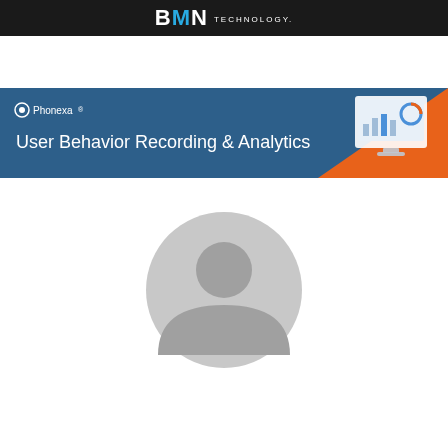BMN TECHNOLOGY.
[Figure (illustration): Phonexa User Behavior Recording & Analytics advertisement banner with blue background, orange triangle accent, and monitor graphic showing analytics dashboard]
[Figure (illustration): Generic gray user/avatar placeholder icon showing a person silhouette]